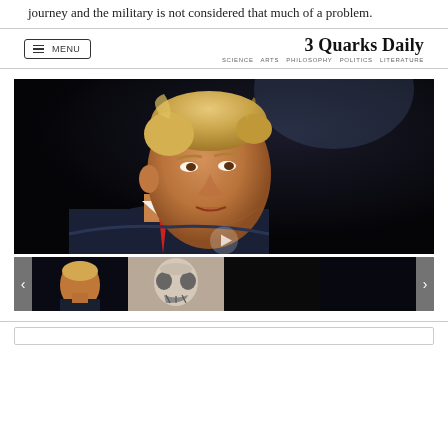journey and the military is not considered that much of a problem.
3 Quarks Daily — SCIENCE ARTS PHILOSOPHY POLITICS LITERATURE
[Figure (photo): Large main video/photo of a man in a dark suit with a red tie against a dark background, with a video play button overlay. Below are four thumbnail images in a carousel with left/right navigation arrows.]